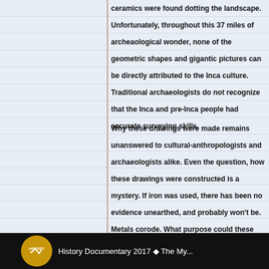ceramics were found dotting the landscape. Unfortunately, throughout this 37 miles of archeaological wonder, none of the geometric shapes and gigantic pictures can be directly attributed to the Inca culture. Traditional archaeologists do not recognize that the Inca and pre-Inca people had accurate surveying skills.
Why these drawings were made remains unanswered to cultural-anthropologists and archaeologists alike. Even the question, how these drawings were constructed is a mystery. If iron was used, there has been no evidence unearthed, and probably won't be. Metals corode. What purpose could these enormous drawings serve?
Check out this documentary on the mysterios Nazca Drawings... and then wonder with me, what could they have been for? What are these people telling us in the 21st Century?
[Figure (screenshot): History Channel documentary video thumbnail with golden History logo and text 'History Documentary 2017 ♦ The My...']